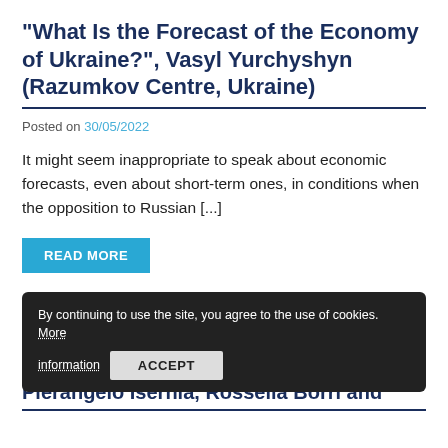“What Is the Forecast of the Economy of Ukraine?”, Vasyl Yurchyshyn (Razumkov Centre, Ukraine)
Posted on 30/05/2022
It might seem inappropriate to speak about economic forecasts, even about short-term ones, in conditions when the opposition to Russian [...]
READ MORE
[Figure (logo): IAI logo - blue geometric cube shape with text 'iai']
By continuing to use the site, you agree to the use of cookies. More information  ACCEPT
“How Italians view Military Spending”, Pierangelo Isernia, Rossella Borri and